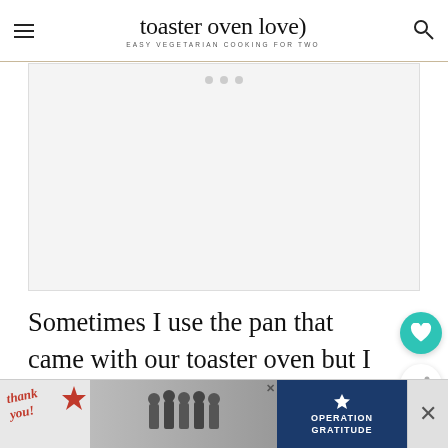toaster oven love — EASY VEGETARIAN COOKING FOR TWO
[Figure (other): Large blank/placeholder advertisement rectangle with three small grey dots at top center]
Sometimes I use the pan that came with our toaster oven but I really like our new 1/8 Nordic Ware sheet pan. It's big enough to
[Figure (other): Bottom banner advertisement: Thank you message with Operation Gratitude logo and firefighters photo]